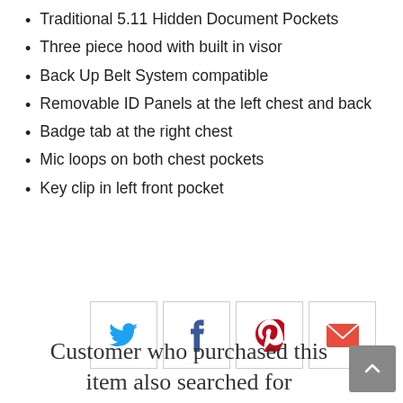Traditional 5.11 Hidden Document Pockets
Three piece hood with built in visor
Back Up Belt System compatible
Removable ID Panels at the left chest and back
Badge tab at the right chest
Mic loops on both chest pockets
Key clip in left front pocket
[Figure (infographic): Social sharing buttons: Twitter (blue bird icon), Facebook (blue f icon), Pinterest (red P icon), Email (red envelope icon), each in a light-bordered square]
Customer who purchased this item also searched for